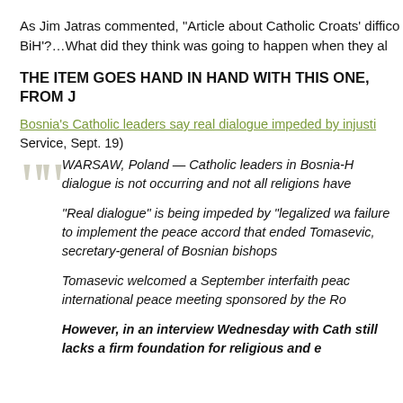As Jim Jatras commented, “Article about Catholic Croats’ diffic BiH’?...What did they think was going to happen when they al
THE ITEM GOES HAND IN HAND WITH THIS ONE, FROM J
Bosnia’s Catholic leaders say real dialogue impeded by injusti Service, Sept. 19)
WARSAW, Poland — Catholic leaders in Bosnia-Herzegovina say real dialogue is not occurring and not all religions have equal rights.
“Real dialogue” is being impeded by “legalized wa failure to implement the peace accord that ended Tomasevic, secretary-general of Bosnian bishops
Tomasevic welcomed a September interfaith peac international peace meeting sponsored by the Ro
However, in an interview Wednesday with Cath still lacks a firm foundation for religious and e